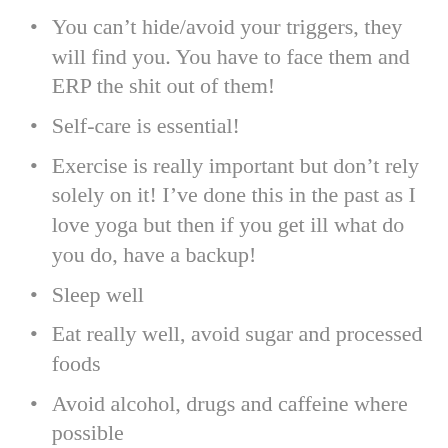You can't hide/avoid your triggers, they will find you. You have to face them and ERP the shit out of them!
Self-care is essential!
Exercise is really important but don't rely solely on it! I've done this in the past as I love yoga but then if you get ill what do you do, have a backup!
Sleep well
Eat really well, avoid sugar and processed foods
Avoid alcohol, drugs and caffeine where possible
Help others, this takes the focus off